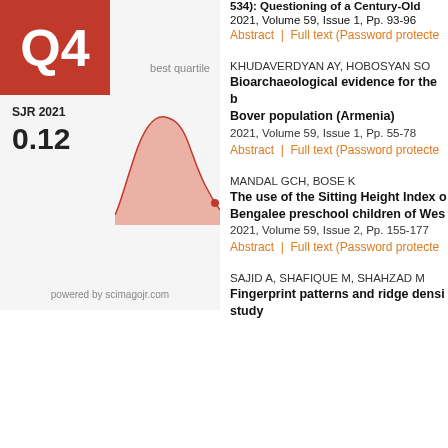[Figure (continuous-plot): SJR 2021 journal metrics panel: Q4 quartile badge (red box), 'best quartile' label, SJR 2021 value 0.12, area chart showing SJR trend over time, powered by scimagojr.com]
534): Questioning of a Century-Old
2021, Volume 59, Issue 1, Pp. 93-96
Abstract  |  Full text (Password protecte
KHUDAVERDYAN AY, HOBOSYAN SO
Bioarchaeological evidence for the b Bover population (Armenia)
2021, Volume 59, Issue 1, Pp. 55-78
Abstract  |  Full text (Password protecte
MANDAL GCH, BOSE K
The use of the Sitting Height Index o Bengalee preschool children of Wes
2021, Volume 59, Issue 2, Pp. 155-177
Abstract  |  Full text (Password protecte
SAJID A, SHAFIQUE M, SHAHZAD M
Fingerprint patterns and ridge densi study